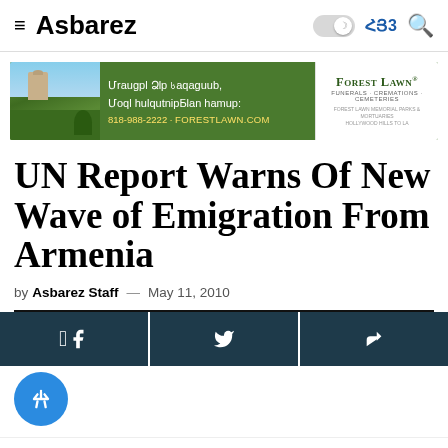≡ Asbarez  ☽ ՀՅ 🔍
[Figure (illustration): Forest Lawn advertisement banner with Armenian text: Մրացրել Ձեր Սայաչան, Մoql hանqutnipԲԵan hamup: 818-988-2222 · ForestLawn.com — Forest Lawn Funerals Cremations Cemeteries logo on white background]
UN Report Warns Of New Wave of Emigration From Armenia
by Asbarez Staff  —  May 11, 2010